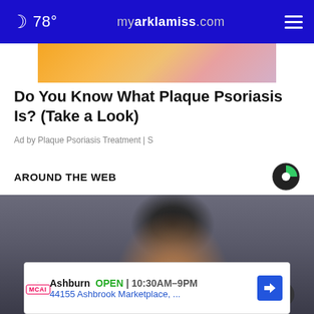78° myarklamiss.com
[Figure (photo): Partial image of colorful advertisement photo (gold/pink tones) at top]
Do You Know What Plaque Psoriasis Is? (Take a Look)
Ad by Plaque Psoriasis Treatment | S
AROUND THE WEB
[Figure (photo): Close-up photo of a man's face with dark hair, serious expression, blurred background]
[Figure (other): Bottom advertisement banner: Ashburn OPEN 10:30AM-9PM, 44155 Ashbrook Marketplace, ... with MCAI logo and navigation arrow icon]